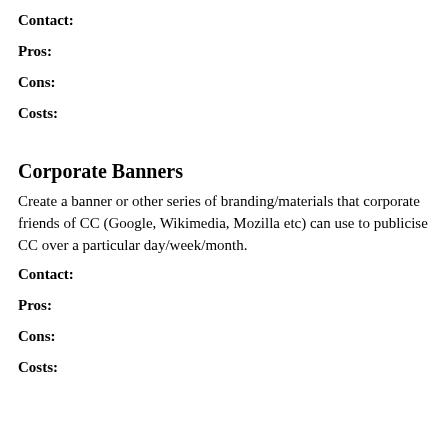Contact:
Pros:
Cons:
Costs:
Corporate Banners
Create a banner or other series of branding/materials that corporate friends of CC (Google, Wikimedia, Mozilla etc) can use to publicise CC over a particular day/week/month.
Contact:
Pros:
Cons:
Costs: